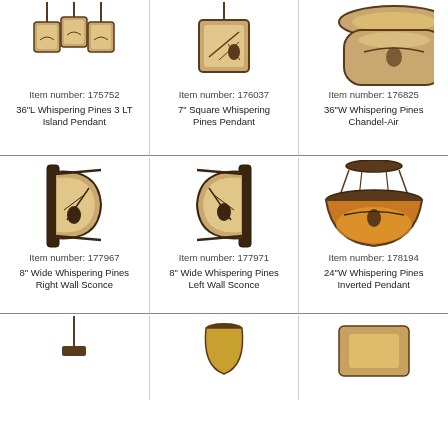[Figure (photo): Three pendant lights with pine cone/branch decorations - 36L Whispering Pines 3 LT Island Pendant]
Item number: 175752
36"L Whispering Pines 3 LT Island Pendant
[Figure (photo): Single square pendant light with pine branch design - 7 inch Square Whispering Pines Pendant]
Item number: 176037
7" Square Whispering Pines Pendant
[Figure (photo): Round chandelier with pine decoration - 36W Whispering Pines Chandel-Air (partially visible)]
Item number: 176825
36"W Whispering Pines Chandel-Air
[Figure (photo): Wall sconce with pine cone and branch design, barrel shaped shade - 8 inch Wide Whispering Pines Right Wall Sconce]
Item number: 177967
8" Wide Whispering Pines Right Wall Sconce
[Figure (photo): Wall sconce with pine cone and branch design - 8 inch Wide Whispering Pines Left Wall Sconce]
Item number: 177971
8" Wide Whispering Pines Left Wall Sconce
[Figure (photo): Round ceiling light with amber/yellow bowl shade and pine decoration - 24W Whispering Pines Inverted Pendant]
Item number: 178194
24"W Whispering Pines Inverted Pendant
[Figure (photo): Partial view of additional lighting items in bottom row]
[Figure (photo): Partial view of additional lighting item in bottom row center]
[Figure (photo): Partial view of additional lighting item in bottom row right]